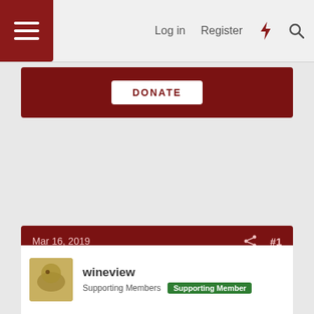Log in  Register
DONATE
Mar 16, 2019  #1
wineview
Supporting Members  Supporting Member